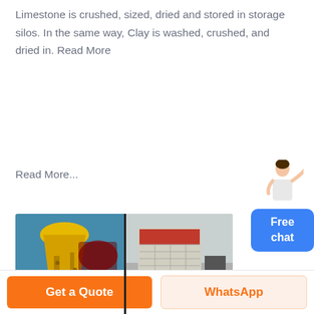Limestone is crushed, sized, dried and stored in storage silos. In the same way, Clay is washed, crushed, and dried in. Read More
Read More...
[Figure (photo): Two industrial machines: a yellow cone crusher on the left and a grey/beige impact crusher on the right, side by side in an outdoor industrial setting.]
Limestone Manufacturing Flow Chart
Cement Manufacturing Process
Get a Quote
WhatsApp